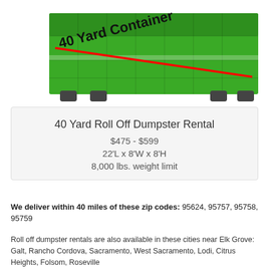[Figure (photo): Green 40 yard roll-off dumpster container with red diagonal line and bold label '40 Yard Container' across the front side.]
40 Yard Roll Off Dumpster Rental
$475 - $599
22'L x 8'W x 8'H
8,000 lbs. weight limit
We deliver within 40 miles of these zip codes: 95624, 95757, 95758, 95759
Roll off dumpster rentals are also available in these cities near Elk Grove: Galt, Rancho Cordova, Sacramento, West Sacramento, Lodi, Citrus Heights, Folsom, Roseville